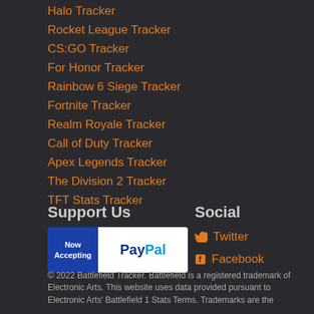Halo Tracker
Rocket League Tracker
CS:GO Tracker
For Honor Tracker
Rainbow 6 Siege Tracker
Fortnite Tracker
Realm Royale Tracker
Call of Duty Tracker
Apex Legends Tracker
The Division 2 Tracker
TFT Stats Tracker
Support Us
[Figure (logo): PayPal payment logo with blue 'Now Accepting' panel on left and white PayPal logo on right]
Social
Twitter
Facebook
© 2022 Battlefield Tracker. Battlefield is a registered trademark of Electronic Arts. This website uses data provided pursuant to Electronic Arts' Battlefield 1 Stats Terms. Trademarks are the property of their respective owners. Game content and materials are trademarks and copyrights of their respective publisher and its licensors.